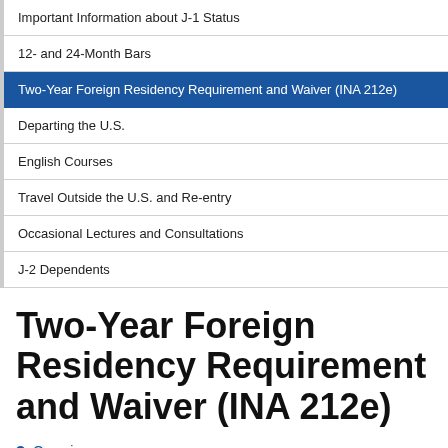Important Information about J-1 Status
12- and 24-Month Bars
Two-Year Foreign Residency Requirement and Waiver (INA 212e)
Departing the U.S.
English Courses
Travel Outside the U.S. and Re-entry
Occasional Lectures and Consultations
J-2 Dependents
Two-Year Foreign Residency Requirement and Waiver (INA 212e)
Overview
Applying for a Waiver
No Objection Waiver